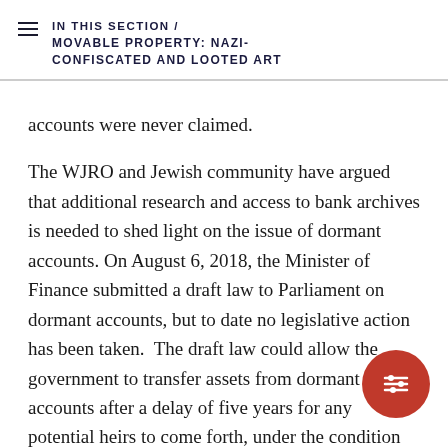IN THIS SECTION / MOVABLE PROPERTY: NAZI-CONFISCATED AND LOOTED ART
accounts were never claimed.
The WJRO and Jewish community have argued that additional research and access to bank archives is needed to shed light on the issue of dormant accounts. On August 6, 2018, the Minister of Finance submitted a draft law to Parliament on dormant accounts, but to date no legislative action has been taken. The draft law could allow the government to transfer assets from dormant accounts after a delay of five years for any potential heirs to come forth, under the condition the original account owner had been the victim of severe international human rights violations. The law could also be used to transfer assets that had belonged